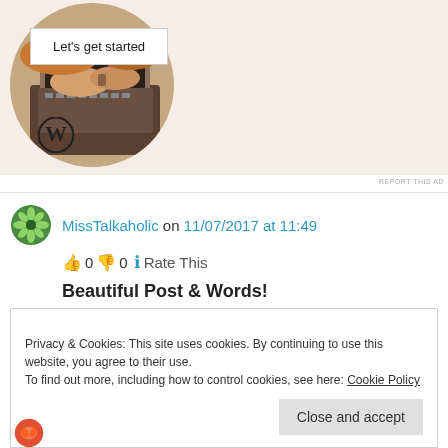[Figure (screenshot): WordPress ad banner with 'Let's get started' button, WordPress logo, and circular cropped photo of person typing on laptop]
REPORT THIS AD
MissTalkaholic on 11/07/2017 at 11:49
👍 0 👎 0 ℹ️ Rate This
Beautiful Post & Words!
Privacy & Cookies: This site uses cookies. By continuing to use this website, you agree to their use.
To find out more, including how to control cookies, see here: Cookie Policy
Close and accept